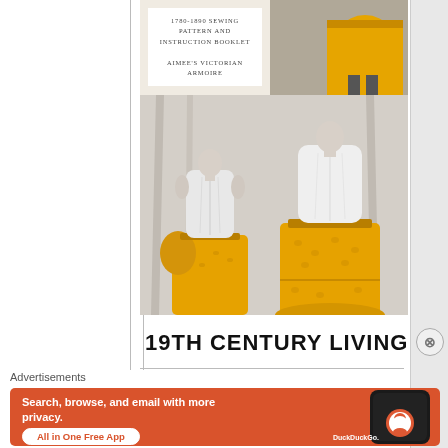[Figure (photo): Victorian sewing pattern booklet cover (top-left thumbnail) showing text '1780-1890 SEWING PATTERN AND INSTRUCTION BOOKLET, AIMEE'S VICTORIAN ARMOIRE'; top-right thumbnail of yellow/mustard skirt on mannequin; large bottom photo of two dress forms wearing white bodices and full mustard/yellow gathered skirts]
19TH CENTURY LIVING
Advertisements
[Figure (screenshot): DuckDuckGo advertisement banner on orange/red background: 'Search, browse, and email with more privacy. All in One Free App' with DuckDuckGo logo and phone mockup]